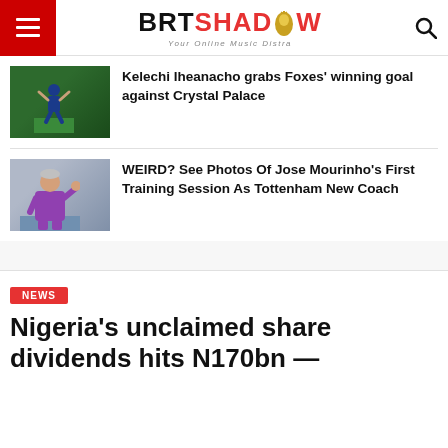BRTSHADOW — Your Online Music Distra
Kelechi Iheanacho grabs Foxes' winning goal against Crystal Palace
[Figure (photo): Soccer player in blue Leicester City kit kneeling on grass pitch with arms raised in celebration]
WEIRD? See Photos Of Jose Mourinho's First Training Session As Tottenham New Coach
[Figure (photo): Jose Mourinho in purple tracksuit gesturing with hand during training session]
NEWS
Nigeria's unclaimed share dividends hits N170bn —